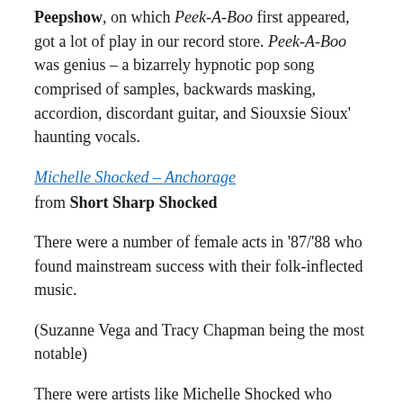Peepshow, on which Peek-A-Boo first appeared, got a lot of play in our record store. Peek-A-Boo was genius – a bizarrely hypnotic pop song comprised of samples, backwards masking, accordion, discordant guitar, and Siouxsie Sioux' haunting vocals.
Michelle Shocked – Anchorage
from Short Sharp Shocked
There were a number of female acts in '87/'88 who found mainstream success with their folk-inflected music.
(Suzanne Vega and Tracy Chapman being the most notable)
There were artists like Michelle Shocked who didn't become a household names, but did earn love from critics and devoted audiences on a more intimate scale.